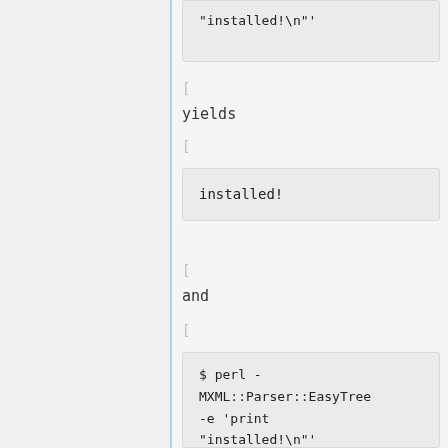"installed!\n"'
[
yields
[
installed!
[
and
[
$ perl -
MXML::Parser::EasyTree
-e 'print
"installed!\n"'